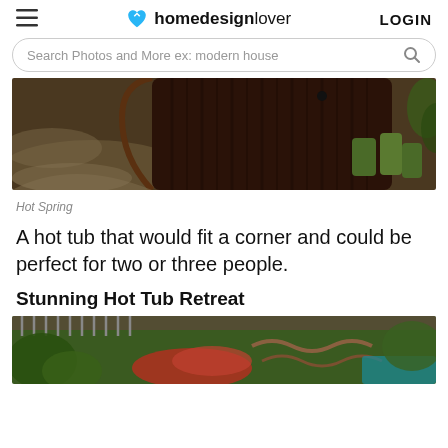homedesignlover LOGIN
Search Photos and More ex: modern house
[Figure (photo): Close-up photo of a dark brown wooden hot tub exterior with gravel ground and green cylindrical planters on the right side]
Hot Spring
A hot tub that would fit a corner and could be perfect for two or three people.
Stunning Hot Tub Retreat
[Figure (photo): Outdoor hot tub retreat with lush greenery, red flowering plants, and a curved lounge area]